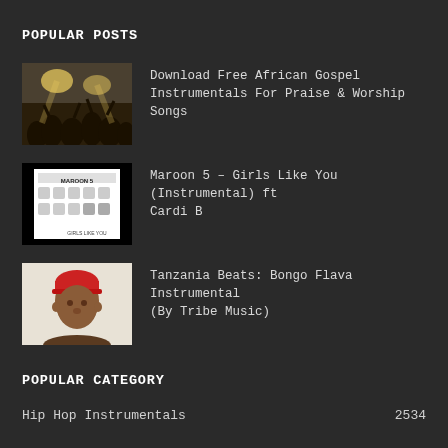POPULAR POSTS
Download Free African Gospel Instrumentals For Praise & Worship Songs
Maroon 5 – Girls Like You (Instrumental) ft Cardi B
Tanzania Beats: Bongo Flava Instrumental (By Tribe Music)
POPULAR CATEGORY
Hip Hop Instrumentals 2534